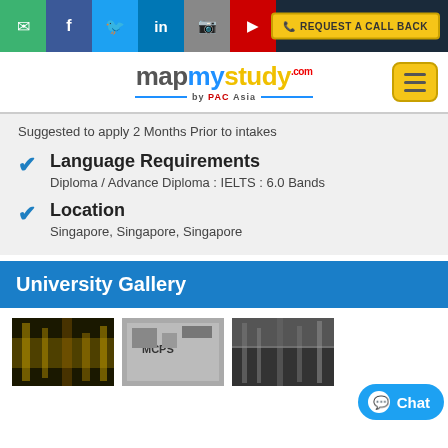mapmystudy.com by PAC Asia — social navigation bar
Suggested to apply 2 Months Prior to intakes
Language Requirements
Diploma / Advance Diploma : IELTS : 6.0 Bands
Location
Singapore, Singapore, Singapore
University Gallery
[Figure (photo): Three university campus photos shown in a row at the bottom of the page]
Chat